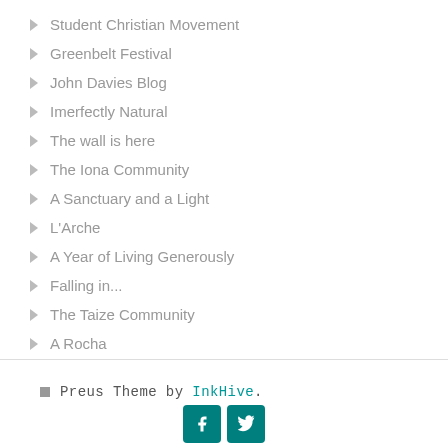Student Christian Movement
Greenbelt Festival
John Davies Blog
Imerfectly Natural
The wall is here
The Iona Community
A Sanctuary and a Light
L'Arche
A Year of Living Generously
Falling in...
The Taize Community
A Rocha
Preus Theme by InkHive.